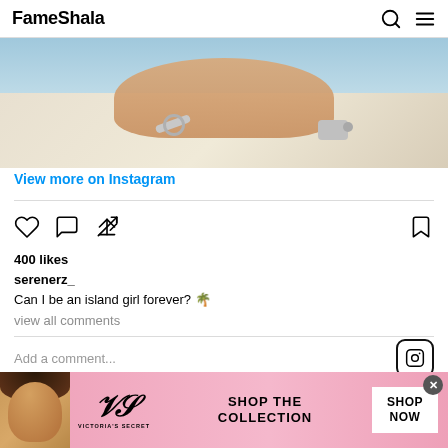FameShala
[Figure (photo): Cropped photo of a person on a boat/yacht deck with turquoise water background]
View more on Instagram
[Figure (infographic): Instagram post actions: heart (like), comment bubble, share icons on left; bookmark icon on right]
400 likes
serenerz_
Can I be an island girl forever? 🌴
view all comments
Add a comment...
[Figure (logo): Instagram logo icon]
[Figure (infographic): Victoria's Secret advertisement banner with model, VS logo, SHOP THE COLLECTION text, and SHOP NOW button]
VICTORIA'S SECRET — SHOP THE COLLECTION — SHOP NOW